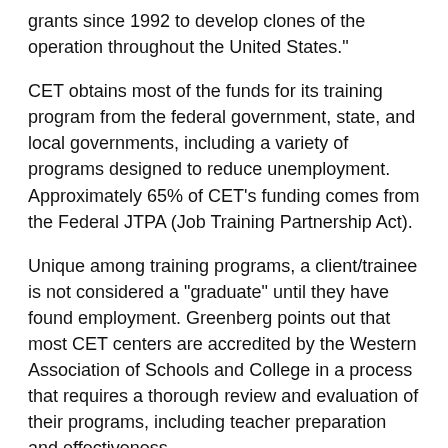grants since 1992 to develop clones of the operation throughout the United States."
CET obtains most of the funds for its training program from the federal government, state, and local governments, including a variety of programs designed to reduce unemployment. Approximately 65% of CET's funding comes from the Federal JTPA (Job Training Partnership Act).
Unique among training programs, a client/trainee is not considered a "graduate" until they have found employment. Greenberg points out that most CET centers are accredited by the Western Association of Schools and College in a process that requires a thorough review and evaluation of their programs, including teacher preparation and effectiveness.
Besides meeting such stringent standards as those required for WASC accreditation, another comparative evaluation and report on four major welfare to work programs was conducted by the Rockefeller Foundation in 1990. In that study, it was determined that CET was the "outstanding job training program." That report launched CET to worldwide fame. At that time, La Oferta published an article which